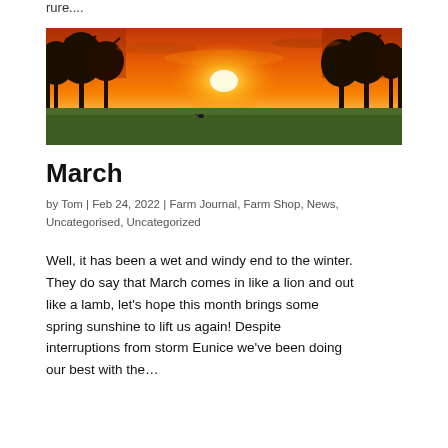rure....
[Figure (photo): A panoramic sunset photograph over a field. The sky is vivid orange and red with the sun low on the horizon behind silhouetted bare trees. A green field is in the foreground with a small bird visible.]
March
by Tom | Feb 24, 2022 | Farm Journal, Farm Shop, News, Uncategorised, Uncategorized
Well, it has been a wet and windy end to the winter. They do say that March comes in like a lion and out like a lamb, let's hope this month brings some spring sunshine to lift us again! Despite interruptions from storm Eunice we've been doing our best with the…